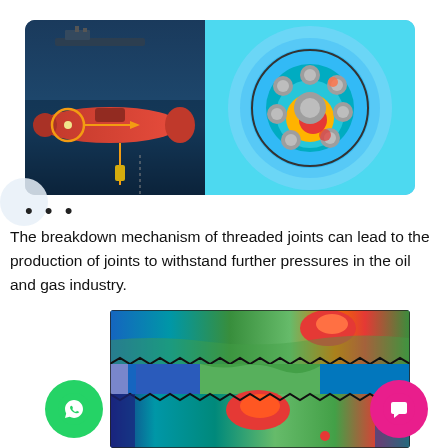[Figure (engineering-diagram): Two-panel image: left panel shows a submarine/underwater vehicle with an orange circle highlighting a threaded joint connector with an arrow pointing right; right panel shows a cross-sectional FEM stress analysis (heat map) of a multi-strand cable or pipe bundle with circular elements arranged in a ring pattern, colors ranging from blue (low stress) to red (high stress).]
The breakdown mechanism of threaded joints can lead to the production of joints to withstand further pressures in the oil and gas industry.
[Figure (engineering-diagram): FEM stress analysis heat map of a threaded joint cross-section showing von Mises or equivalent stress distribution. The image shows two mating threaded components with stress concentrations (red/orange) at the thread roots and contact zones, transitioning through green to blue in low-stress regions. Zigzag thread profiles are visible along the contact interfaces.]